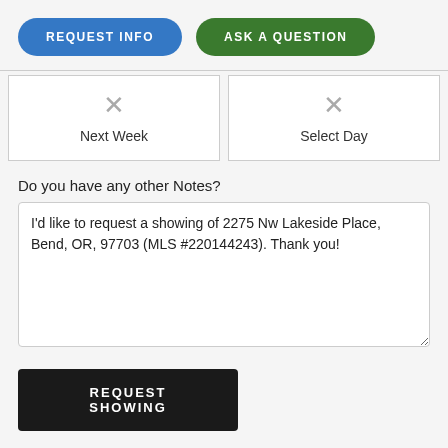[Figure (screenshot): Two rounded pill-shaped buttons: blue 'REQUEST INFO' and green 'ASK A QUESTION']
[Figure (screenshot): Two calendar/date selector cells side by side. Left cell has an X icon and label 'Next Week'. Right cell has an X icon and label 'Select Day'.]
Do you have any other Notes?
I'd like to request a showing of 2275 Nw Lakeside Place, Bend, OR, 97703 (MLS #220144243). Thank you!
[Figure (screenshot): Dark button labeled 'REQUEST SHOWING']